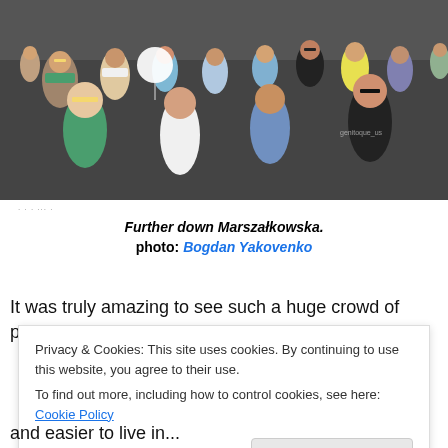[Figure (photo): A crowd of people walking down Marszałkowska street, viewed from above. Many people in summer clothes, some with sunglasses, walking on a dark road surface.]
Further down Marszałkowska.
photo: Bogdan Yakovenko
It was truly amazing to see such a huge crowd of positive
Privacy & Cookies: This site uses cookies. By continuing to use this website, you agree to their use.
To find out more, including how to control cookies, see here: Cookie Policy
Close and accept
and easier to live in...